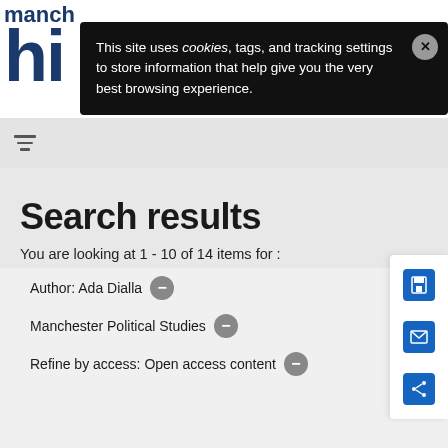manchester hi
This site uses cookies, tags, and tracking settings to store information that help give you the very best browsing experience.
Search results
You are looking at 1 - 10 of 14 items for :
Author: Ada Dialla −
Manchester Political Studies −
Refine by access: Open access content −